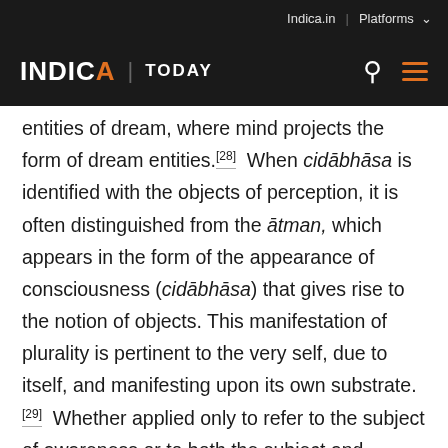Indica.in | Platforms
INDICA | TODAY
entities of dream, where mind projects the form of dream entities.[28]  When cidābhāsa is identified with the objects of perception, it is often distinguished from the ātman, which appears in the form of the appearance of consciousness (cidābhāsa) that gives rise to the notion of objects. This manifestation of plurality is pertinent to the very self, due to itself, and manifesting upon its own substrate.[29]  Whether applied only to refer to the subject of awareness or to both the subject and